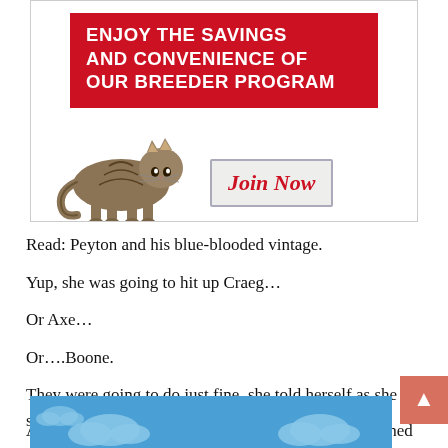[Figure (other): Advertisement banner for a breeder program. Red box with white bold text 'ENJOY THE SAVINGS AND CONVENIENCE OF OUR BREEDER PROGRAM', below it a tabby cat walking to the right and a 'Join Now' button in italic red text on a light gray background with a border.]
Read: Peyton and his blue-blooded vintage.
Yup, she was going to hit up Craeg…
Or Axe…
Or….Boone.
They were going to do just fine, she told herself as she signed into her phone. Just fine and dandy.
After P[obscured by weather widget]wished